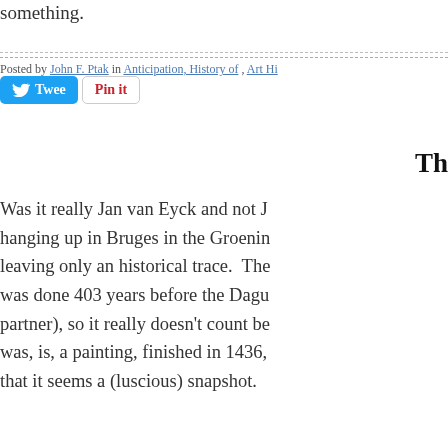something.
Posted by John F. Ptak in Anticipation, History of , Art Hi
[Figure (screenshot): Social sharing buttons: Tweet button (blue with Twitter bird icon) and Pin it button (white with red text)]
Th
Was it really Jan van Eyck and not J hanging up in Bruges in the Groenin leaving only an historical trace.  The was done 403 years before the Dagu partner), so it really doesn't count be was, is, a painting, finished in 1436, that it seems a (luscious) snapshot.